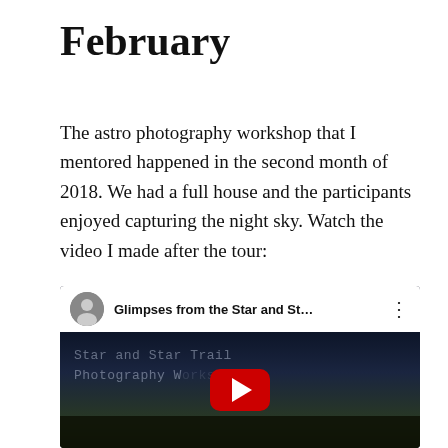February
The astro photography workshop that I mentored happened in the second month of 2018. We had a full house and the participants enjoyed capturing the night sky. Watch the video I made after the tour:
[Figure (screenshot): YouTube video embed thumbnail showing 'Glimpses from the Star and St...' with a profile avatar, three-dot menu, overlaid text 'Star and Star Trail Photography W...' on a dark night sky background with a red YouTube play button, and sunflower silhouette at the bottom.]